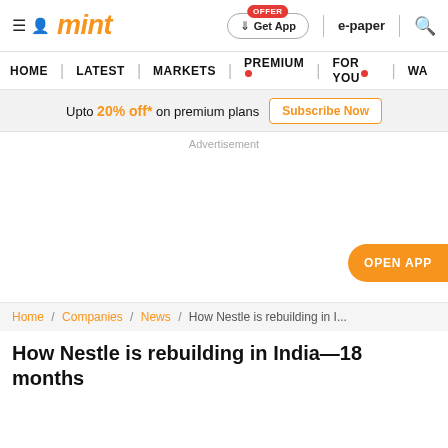mint — Home | Latest | Markets | Premium | For You | WA
Upto 20% off* on premium plans — Subscribe Now
Advertisement
OPEN APP
Home / Companies / News / How Nestle is rebuilding in I...
How Nestle is rebuilding in India—18 months